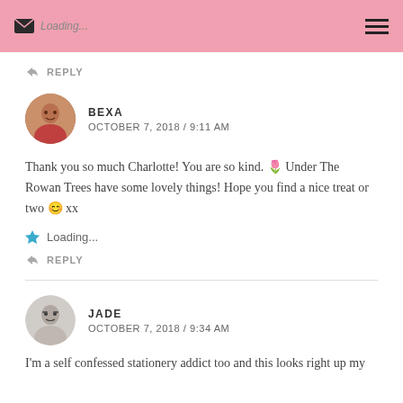Loading...
REPLY
[Figure (photo): Circular avatar photo of Bexa, a woman with reddish hair]
BEXA
OCTOBER 7, 2018 / 9:11 AM
Thank you so much Charlotte! You are so kind. 🌷 Under The Rowan Trees have some lovely things! Hope you find a nice treat or two 😊 xx
Loading...
REPLY
[Figure (photo): Circular avatar photo of Jade, a person with short dark hair and glasses]
JADE
OCTOBER 7, 2018 / 9:34 AM
I'm a self confessed stationery addict too and this looks right up my